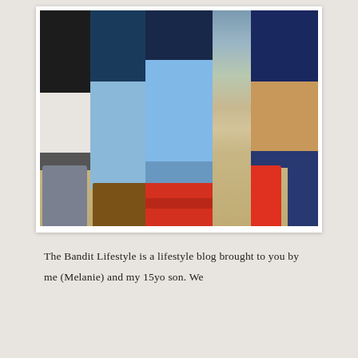[Figure (photo): Photo showing legs and feet of four people standing on sandy ground. From left to right: person in black shorts with athletic shoes and socks, person in jeans with cowboy boots, person in distressed skinny jeans with red sandals, person in navy shorts with red and navy sneakers.]
The Bandit Lifestyle is a lifestyle blog brought to you by me (Melanie) and my 15yo son. We